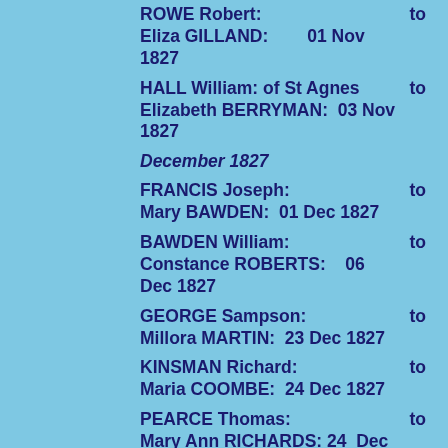ROWE Robert: to
Eliza GILLAND: 01 Nov 1827
HALL William: of St Agnes to
Elizabeth BERRYMAN: 03 Nov 1827
December 1827
FRANCIS Joseph: to
Mary BAWDEN: 01 Dec 1827
BAWDEN William: to
Constance ROBERTS: 06 Dec 1827
GEORGE Sampson: to
Millora MARTIN: 23 Dec 1827
KINSMAN Richard: to
Maria COOMBE: 24 Dec 1827
PEARCE Thomas: to
Mary Ann RICHARDS: 24 Dec 1827
PERRY Charles: to
Mary BISHOP: 24 Dec 1827